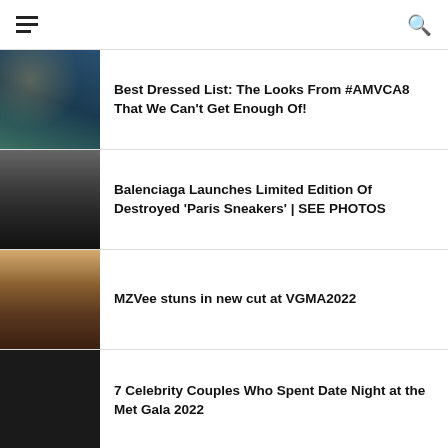Menu | Search
Best Dressed List: The Looks From #AMVCA8 That We Can't Get Enough Of!
Balenciaga Launches Limited Edition Of Destroyed 'Paris Sneakers' | SEE PHOTOS
MZVee stuns in new cut at VGMA2022
7 Celebrity Couples Who Spent Date Night at the Met Gala 2022